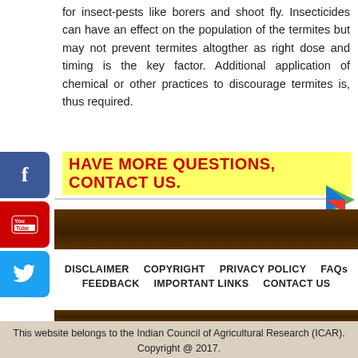for insect-pests like borers and shoot fly. Insecticides can have an effect on the population of the termites but may not prevent termites altogther as right dose and timing is the key factor. Additional application of chemical or other practices to discourage termites is, thus required.
HAVE MORE QUESTIONS, CONTACT US.
DISCLAIMER  COPYRIGHT  PRIVACY POLICY  FAQs  FEEDBACK  IMPORTANT LINKS  CONTACT US
This website belongs to the Indian Council of Agricultural Research (ICAR). Copyright @ 2017.